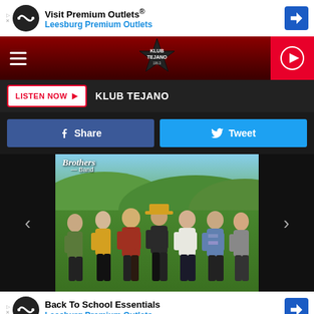[Figure (screenshot): Advertisement banner: Visit Premium Outlets® / Leesburg Premium Outlets with infinity loop icon and blue directional sign arrow]
[Figure (logo): Klub Tejano 106.3 radio station logo on dark red header bar with hamburger menu and play button]
LISTEN NOW ▶   KLUB TEJANO
Share   Tweet
[Figure (photo): Band photo: Brothers Band group photo with 7 members standing in a green outdoor field, text 'Brothers Band' at top]
[Figure (screenshot): Advertisement banner: Back To School Essentials / Leesburg Premium Outlets with infinity loop icon and blue directional sign arrow]